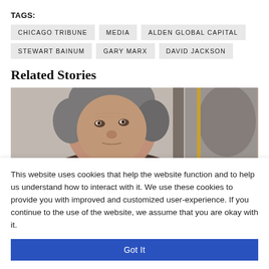TAGS:
CHICAGO TRIBUNE
MEDIA
ALDEN GLOBAL CAPITAL
STEWART BAINUM
GARY MARX
DAVID JACKSON
Related Stories
[Figure (photo): Close-up photograph of an elderly man with gray hair, partially visible, with a flag in the background]
This website uses cookies that help the website function and to help us understand how to interact with it. We use these cookies to provide you with improved and customized user-experience. If you continue to the use of the website, we assume that you are okay with it.
Got It